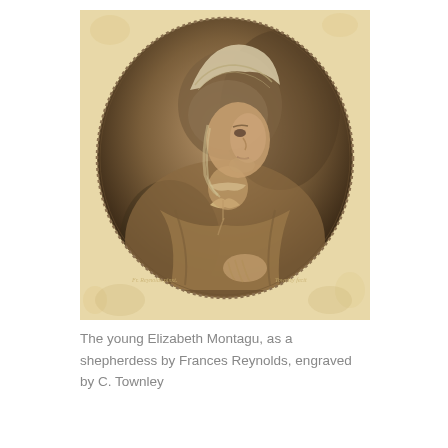[Figure (illustration): An oval-framed engraved portrait of the young Elizabeth Montagu depicted as a shepherdess, facing slightly right in three-quarter profile. She wears a white bonnet/cap, a shawl or wrap tied with a bow, and lace trim at her bodice. Her right hand rests at the lower edge. The engraving has a sepia/brown tone, set against a mottled light parchment background. The oval frame has a dotted border. Inscribed at bottom corners with artist/engraver names, one reading 'Frances Reynolds' or similar and 'Townley fecit'.]
The young Elizabeth Montagu, as a shepherdess by Frances Reynolds, engraved by C. Townley